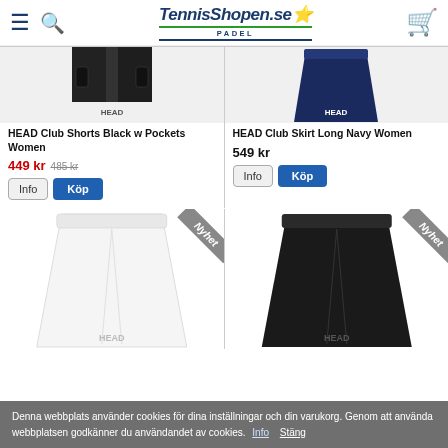TennisShopen.se PADEL
[Figure (photo): HEAD Club Shorts Black with Pockets - Women's product image (partial, top portion visible)]
HEAD Club Shorts Black w Pockets Women
449 kr  485 kr
[Figure (photo): HEAD Club Skirt Long Navy Women - product image (partial, top portion visible)]
HEAD Club Skirt Long Navy Women
549 kr
[Figure (photo): HEAD white skirt product image with Nyhet (New) ribbon badge]
[Figure (photo): HEAD black skirt product image with Nyhet (New) ribbon badge]
Denna webbplats använder cookies för dina inställningar och din varukorg. Genom att använda webbplatsen godkänner du användandet av cookies.  Info  Stäng